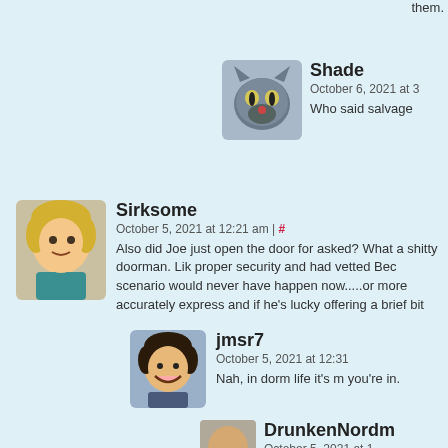them.
Shade
October 6, 2021 at 3
Who said salvage
Sirksome
October 5, 2021 at 12:21 am | #
Also did Joe just open the door for asked? What a shitty doorman. Lik proper security and had vetted Bec scenario would never have happen now.....or more accurately express and if he's lucky offering a brief bit
jmsr7
October 5, 2021 at 12:31
Nah, in dorm life it's m you're in.
DrunkenNordm
October 5, 2021 at 1